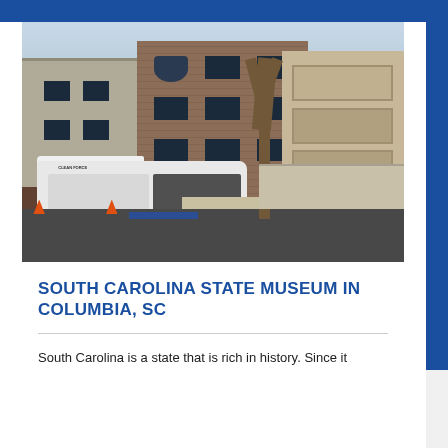[Figure (photo): A white utility/service truck (Clean Force pipe service) parked in front of a multi-story brick and siding apartment complex. There is a bare tree in the foreground, a parking lot, and blue handicap parking space markings visible. The photo is taken outdoors during winter/early spring.]
SOUTH CAROLINA STATE MUSEUM IN COLUMBIA, SC
South Carolina is a state that is rich in history. Since it